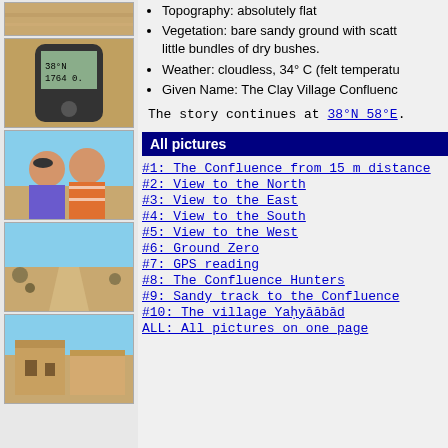[Figure (photo): Desert sandy ground close-up photo (top, partially cropped)]
[Figure (photo): GPS device showing coordinates, held in hand in desert]
[Figure (photo): Two people (man and woman with sunglasses) taking a selfie in desert]
[Figure (photo): Sandy desert track/road with sparse dry bushes on sides]
[Figure (photo): Old clay/mud brick building ruins in desert]
Topography: absolutely flat
Vegetation: bare sandy ground with scatt... little bundles of dry bushes.
Weather: cloudless, 34° C (felt temperatu...
Given Name: The Clay Village Confluenc...
The story continues at 38°N 58°E.
All pictures
#1: The Confluence from 15 m distance
#2: View to the North
#3: View to the East
#4: View to the South
#5: View to the West
#6: Ground Zero
#7: GPS reading
#8: The Confluence Hunters
#9: Sandy track to the Confluence
#10: The village Yaḥyāābād
ALL: All pictures on one page